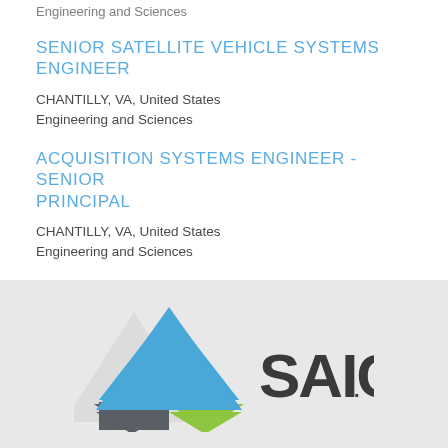Engineering and Sciences
SENIOR SATELLITE VEHICLE SYSTEMS ENGINEER
CHANTILLY, VA, United States
Engineering and Sciences
ACQUISITION SYSTEMS ENGINEER - SENIOR PRINCIPAL
CHANTILLY, VA, United States
Engineering and Sciences
[Figure (logo): SAIC logo with geometric triangles in blue, grey, and green alongside bold SAIC text with period]